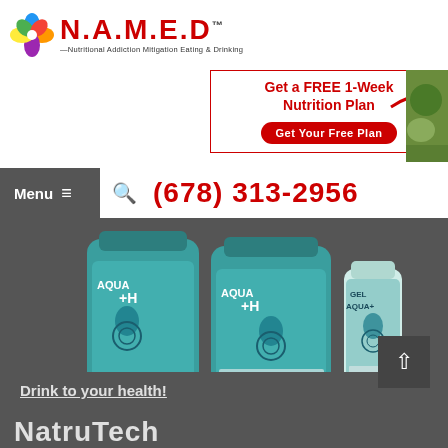[Figure (logo): N.A.M.E.D logo with colorful pinwheel and red stylized text. Subtitle: Nutritional Addiction Mitigation Eating & Drinking]
[Figure (infographic): Banner with red border: Get a FREE 1-Week Nutrition Plan, Get Your Free Plan button, red arrow pointing right, partial food photo on right]
Menu ≡
(678) 313-2956
[Figure (photo): Three AQUA+H product bottles (two large teal containers and one smaller GEL AQUA+ bottle) on dark gray background]
Drink to your health!
NatruTech